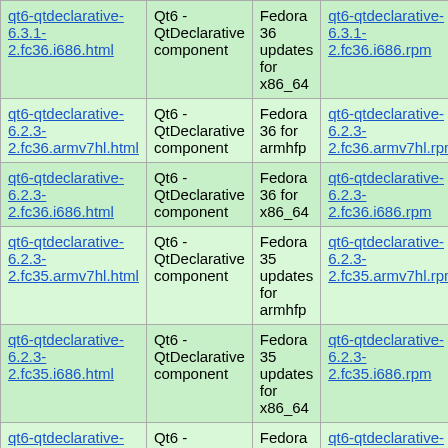| qt6-qtdeclarative-6.3.1-2.fc36.i686.html | Qt6 - QtDeclarative component | Fedora 36 updates for x86_64 | qt6-qtdeclarative-6.3.1-2.fc36.i686.rpm |
| qt6-qtdeclarative-6.2.3-2.fc36.armv7hl.html | Qt6 - QtDeclarative component | Fedora 36 for armhfp | qt6-qtdeclarative-6.2.3-2.fc36.armv7hl.rpm |
| qt6-qtdeclarative-6.2.3-2.fc36.i686.html | Qt6 - QtDeclarative component | Fedora 36 for x86_64 | qt6-qtdeclarative-6.2.3-2.fc36.i686.rpm |
| qt6-qtdeclarative-6.2.3-2.fc35.armv7hl.html | Qt6 - QtDeclarative component | Fedora 35 updates for armhfp | qt6-qtdeclarative-6.2.3-2.fc35.armv7hl.rpm |
| qt6-qtdeclarative-6.2.3-2.fc35.i686.html | Qt6 - QtDeclarative component | Fedora 35 updates for x86_64 | qt6-qtdeclarative-6.2.3-2.fc35.i686.rpm |
| qt6-qtdeclarative-6.2.3-2.fc34.armv7hl.html | Qt6 - QtDeclarative component | Fedora 34 updates for ... | qt6-qtdeclarative-6.2.3-2.fc34.armv7hl... |